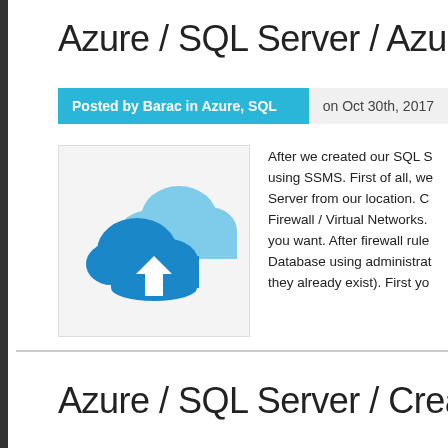Azure / SQL Server / Azure DB / Ac
Posted by Barac in Azure, SQL Server   on Oct 30th, 2017
[Figure (illustration): Azure cloud sync icon — a blue cloud with a white downward arrow, and a lighter blue cloud behind it, on a light grey background.]
After we created our SQL S… using SSMS. First of all, we… Server from our location. C… Firewall / Virtual Networks.… you want. After firewall rule… Database using administrat… they already exist). First yo…
Azure / SQL Server / Create DB on